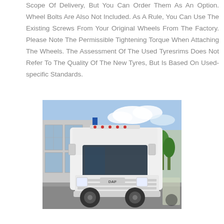Scope Of Delivery, But You Can Order Them As An Option. Wheel Bolts Are Also Not Included. As A Rule, You Can Use The Existing Screws From Your Original Wheels From The Factory. Please Note The Permissible Tightening Torque When Attaching The Wheels. The Assessment Of The Used Tyresrims Does Not Refer To The Quality Of The New Tyres, But Is Based On Used-specific Standards.
[Figure (photo): A white DAF truck (semi-truck/tractor unit) parked in what appears to be a commercial yard or depot. The truck is facing slightly left, showing the front and driver's side. It has a large sleeper cab with roof-mounted lights. The background shows a building with large windows and some trees under a partly cloudy sky.]